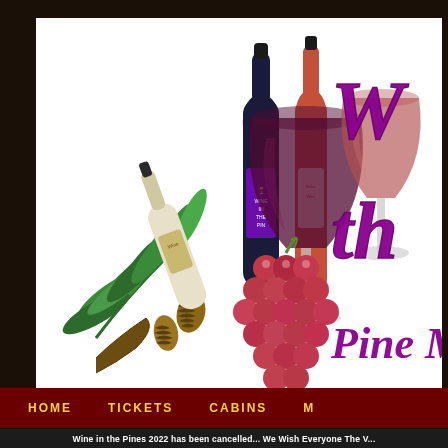[Figure (illustration): Wine in the Pines event banner showing two wine bottles (dark red and rose), two wine glasses filled with red and rose wine, pine branch with pine cones, bunch of red grapes, and a white wine bottle lying down. Purple cursive text partially visible reading 'Wine in the Pines' with 'Pine M...' tagline. White background within dark rustic wooden frame border.]
HOME    TICKETS    CABINS    M
Wine in the Pines 2022 has been cancelled... We Wish Everyone The V...